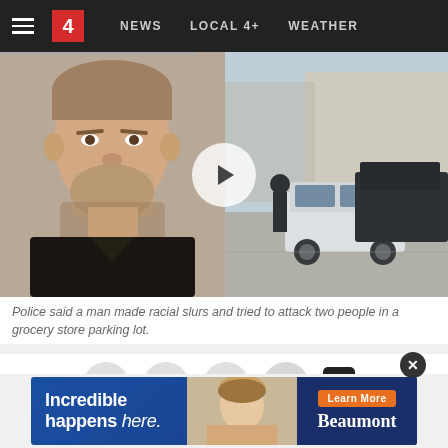≡  4  NEWS  LOCAL 4+  WEATHER
[Figure (screenshot): Split image: left side shows a police mugshot of a white male with short hair and beard wearing a black shirt; right side shows an outdoor parking lot scene with police vehicles and a play button overlay in the center]
Police said a man made racial slurs and tried to attack two people in a grocery store parking lot.
[Figure (infographic): Social sharing buttons row: Facebook, Twitter, Email, Plus/Share, and Comments icons in gray circles]
DEARBORN, Mich. – Police said a man shouted racist slurs at two women in a Dearborn grocery store before trying to
[Figure (screenshot): Advertisement banner: dark blue background with white text 'Incredible happens here.' alongside photo of a young girl, and Beaumont logo with Learn More button on right side]